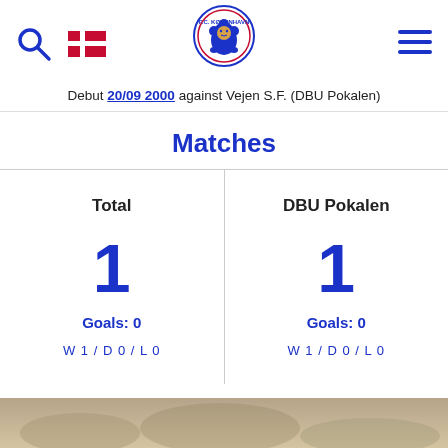FC Copenhagen website header with search icon, Danish flag, FC Copenhagen logo, and hamburger menu
Debut 20/09 2000 against Vejen S.F. (DBU Pokalen)
Matches
| Total | DBU Pokalen |
| --- | --- |
| 1 | 1 |
| Goals: 0 | Goals: 0 |
| W 1 / D 0 / L 0 | W 1 / D 0 / L 0 |
[Figure (photo): Bottom strip showing a partial photo, appears to be a crowd or player scene]